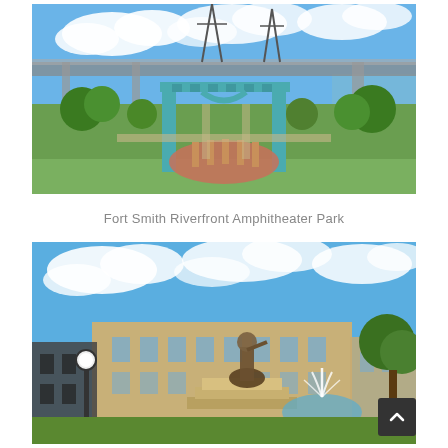[Figure (photo): Aerial/ground-level view of Fort Smith Riverfront Amphitheater Park showing a teal metal arch gate structure, circular paved plaza, green lawns, trees, highway overpass bridge, and river in the background under a blue sky with clouds.]
Fort Smith Riverfront Amphitheater Park
[Figure (photo): Panoramic view of Fort Smith downtown area showing a bronze equestrian statue on a tiered stone base, a fountain with water spray, tan brick multi-story buildings, a street clock, blue sky with clouds, and green trees.]